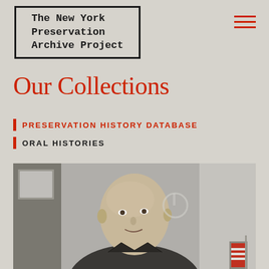[Figure (logo): The New York Preservation Archive Project logo in a black-bordered box]
[Figure (illustration): Hamburger menu icon with three red horizontal lines]
Our Collections
PRESERVATION HISTORY DATABASE
ORAL HISTORIES
[Figure (photo): Black and white photograph of a bald man speaking, with a framed picture and a small American flag visible in the background]